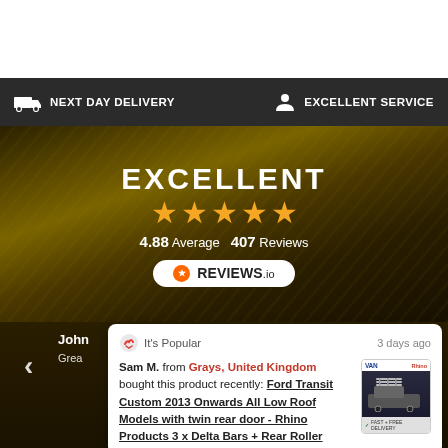[Figure (screenshot): E-commerce website banner showing NEXT DAY DELIVERY and EXCELLENT SERVICE badges on dark background, followed by a hero section with EXCELLENT rating, 5 gold stars, 4.88 Average 407 Reviews, Reviews.io badge, and a customer review card from Sam M. about Ford Transit Custom product]
NEXT DAY DELIVERY   EXCELLENT SERVICE
EXCELLENT
4.88 Average  407 Reviews
REVIEWS.io
It's Popular   3 days ago
Sam M. from Grays, United Kingdom bought this product recently: Ford Transit Custom 2013 Onwards All Low Roof Models with twin rear door - Rhino Products 3 x Delta Bars + Rear Roller